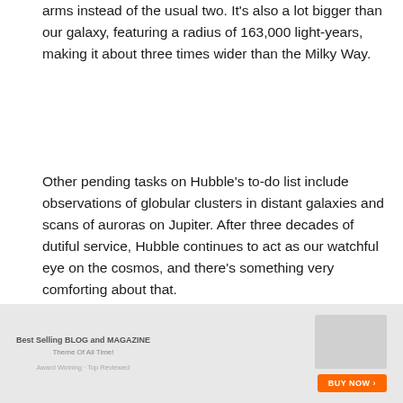arms instead of the usual two. It's also a lot bigger than our galaxy, featuring a radius of 163,000 light-years, making it about three times wider than the Milky Way.
Other pending tasks on Hubble's to-do list include observations of globular clusters in distant galaxies and scans of auroras on Jupiter. After three decades of dutiful service, Hubble continues to act as our watchful eye on the cosmos, and there's something very comforting about that.
More: Enormous inbound comet appears as 'beautiful little fuzzy dot' in new image.
Source
[Figure (screenshot): Footer banner advertisement for a blog and magazine theme with a 'Buy Now' button.]